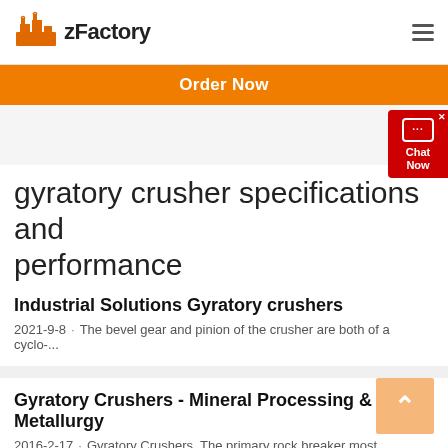zFactory
Order Now
gyratory crusher specifications and performance
Industrial Solutions Gyratory crushers
2021-9-8 · The bevel gear and pinion of the crusher are both of a cyclo-...
Gyratory Crushers - Mineral Processing & Metallurgy
2016-2-17 · Gyratory Crushers. The primary rock breaker most common...